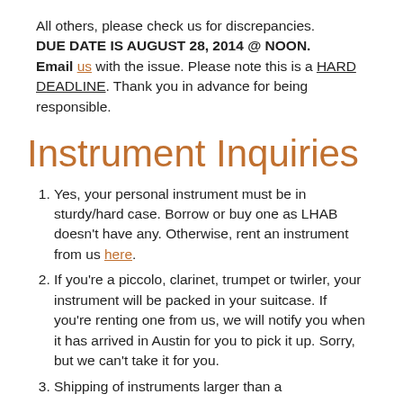All others, please check us for discrepancies. DUE DATE IS AUGUST 28, 2014 @ NOON. Email us with the issue. Please note this is a HARD DEADLINE. Thank you in advance for being responsible.
Instrument Inquiries
Yes, your personal instrument must be in sturdy/hard case. Borrow or buy one as LHAB doesn't have any. Otherwise, rent an instrument from us here.
If you're a piccolo, clarinet, trumpet or twirler, your instrument will be packed in your suitcase. If you're renting one from us, we will notify you when it has arrived in Austin for you to pick it up. Sorry, but we can't take it for you.
Shipping of instruments larger than a